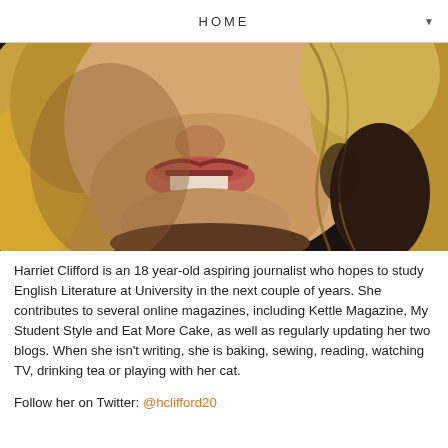HOME
[Figure (photo): Close-up cropped photo of a young blonde woman smiling, showing lower half of face with blonde hair, dark background]
Harriet Clifford is an 18 year-old aspiring journalist who hopes to study English Literature at University in the next couple of years. She contributes to several online magazines, including Kettle Magazine, My Student Style and Eat More Cake, as well as regularly updating her two blogs. When she isn't writing, she is baking, sewing, reading, watching TV, drinking tea or playing with her cat.
Follow her on Twitter: @hclifford20